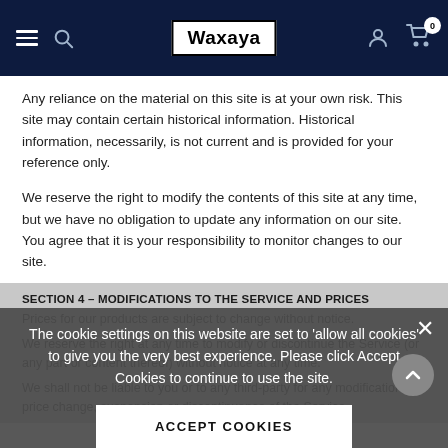Waxaya
Any reliance on the material on this site is at your own risk. This site may contain certain historical information. Historical information, necessarily, is not current and is provided for your reference only.
We reserve the right to modify the contents of this site at any time, but we have no obligation to update any information on our site. You agree that it is your responsibility to monitor changes to our site.
SECTION 4 – MODIFICATIONS TO THE SERVICE AND PRICES
Prices for our products are subject to change without notice.
We reserve the right at any time to modify or discontinue the Service (or any part or content thereof) without notice at any time.
We shall not be liable to you or to any third-party for any modification, price change, suspension or discontinuance of the Service.
The cookie settings on this website are set to 'allow all cookies' to give you the very best experience. Please click Accept Cookies to continue to use the site.